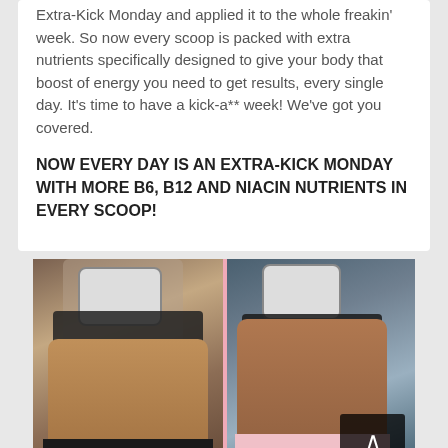So now every scoop is packed with extra nutrients specifically designed to give your body that boost of energy you need to get results, every single day. It's time to have a kick-a** week! We've got you covered.
NOW EVERY DAY IS AN EXTRA-KICK MONDAY WITH MORE B6, B12 AND NIACIN NUTRIENTS IN EVERY SCOOP!
[Figure (photo): Before and after comparison photos showing a woman's midsection. Left photo shows a darker background selfie in black underwear. Right photo shows a selfie in black sports bra and pink underwear with a blue background. A scroll-up button overlay appears on the right photo.]